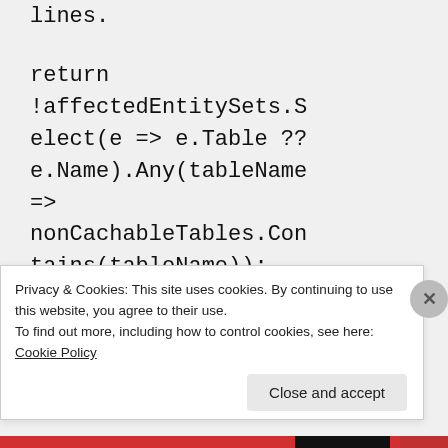lines.
★ Like
↩ Reply
Privacy & Cookies: This site uses cookies. By continuing to use this website, you agree to their use.
To find out more, including how to control cookies, see here: Cookie Policy
Close and accept